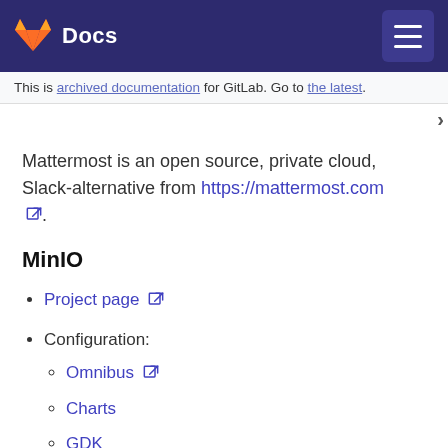Docs
This is archived documentation for GitLab. Go to the latest.
Mattermost is an open source, private cloud, Slack-alternative from https://mattermost.com.
MinIO
Project page
Configuration:
Omnibus
Charts
GDK
Layer: Core Service (Data)
GitLab.com: Storage Architecture